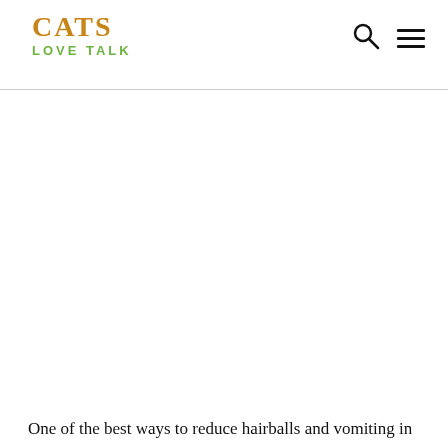CATS LOVE TALK
[Figure (photo): Large image area (white/blank) showing a cat-related photo, not fully visible]
One of the best ways to reduce hairballs and vomiting in